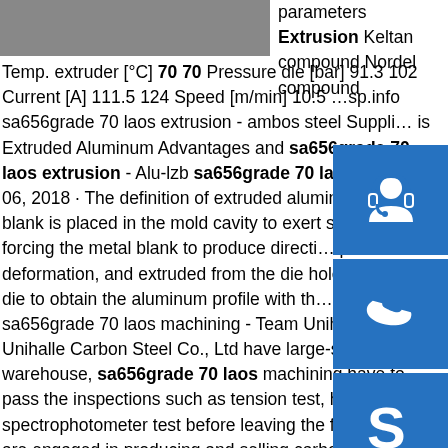[Figure (photo): Photograph of metal/extrusion surface, grayscale]
parameters Extrusion Keltan compound Nordel compound Temp. extruder [°C] 70 70 Pressure die [bar] 91.3 102 Current [A] 111.5 124 Speed [m/min] 10.5 …sp.info sa656grade 70 laos extrusion - ambos steel Suppli… is Extruded Aluminum Advantages and sa656grade 70 laos extrusion - Alu-lzb sa656grade 70 laos extrusion Jun 06, 2018 · The definition of extruded aluminum metal blank is placed in the mold cavity to exert strong pressure, forcing the metal blank to produce directional plastic deformation, and extruded from the die hole of the extrusion die to obtain the aluminum profile with the ...sp.info sa656grade 70 laos machining - Team UnihalleTeam Unihalle Carbon Steel Co., Ltd have large-scale indoor warehouse, sa656grade 70 laos machining have to pass the inspections such as tension test, hardness test, spectrophotometer test before leaving the factory. We are engaged in producing and selling carbon steel, stainless steel, wear resistant steel plate, weathering
[Figure (other): Blue icon box with headset/customer support icon]
[Figure (other): Blue icon box with phone/call icon]
[Figure (other): Blue icon box with Skype icon]